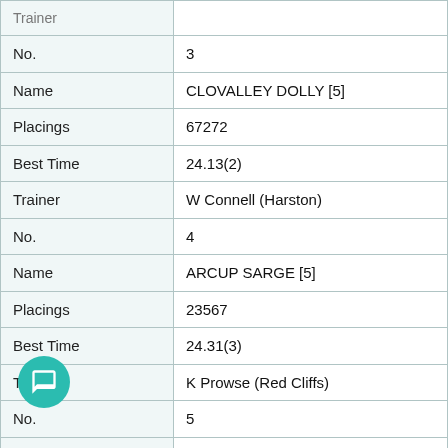| Field | Value |
| --- | --- |
| Trainer | (partially visible) |
| No. | 3 |
| Name | CLOVALLEY DOLLY [5] |
| Placings | 67272 |
| Best Time | 24.13(2) |
| Trainer | W Connell (Harston) |
| No. | 4 |
| Name | ARCUP SARGE [5] |
| Placings | 23567 |
| Best Time | 24.31(3) |
| Trainer | K Prowse (Red Cliffs) |
| No. | 5 |
| Name | WAIMEA [5] |
| Placings | 18152 |
| Best Time | 24.12(2) |
| Trainer | G Lemin (Axedale) |
| No. | 6 |
| Name | WILD JOSH (NSW)[5] |